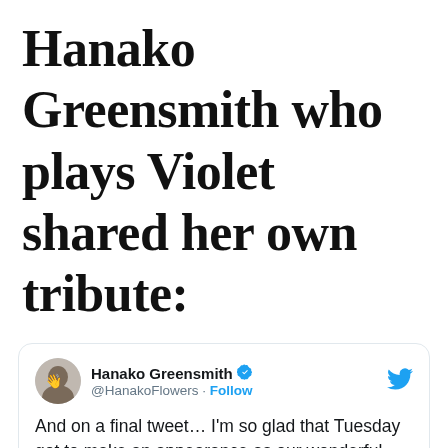Hanako Greensmith who plays Violet shared her own tribute:
[Figure (screenshot): Tweet from Hanako Greensmith (@HanakoFlowers) with verified badge and Follow link. Tweet text: And on a final tweet... I'm so glad that Tuesday got to make an appearance as our wonderful flower girl. May she rest peacefully, that sweet and gorgeous girl. Thank you for loving her as much as we]
And on a final tweet… I'm so glad that Tuesday got to make an appearance as our wonderful flower girl. May she rest peacefully, that sweet and gorgeous girl. Thank you for loving her as much as we